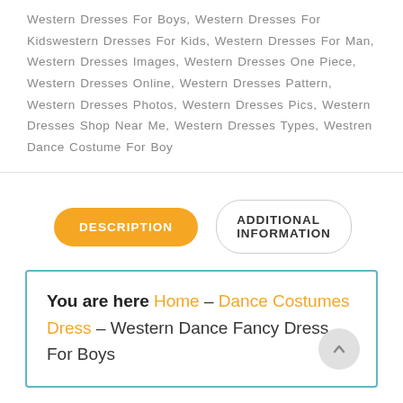Western Dresses For Boys, Western Dresses For Kidswestern Dresses For Kids, Western Dresses For Man, Western Dresses Images, Western Dresses One Piece, Western Dresses Online, Western Dresses Pattern, Western Dresses Photos, Western Dresses Pics, Western Dresses Shop Near Me, Western Dresses Types, Westren Dance Costume For Boy
DESCRIPTION | ADDITIONAL INFORMATION
You are here Home – Dance Costumes Dress – Western Dance Fancy Dress For Boys